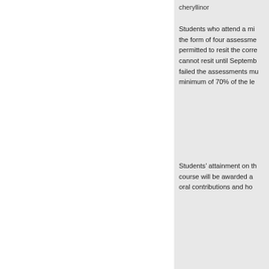cheryllinor
Students who attend a minimum of the form of four assessments permitted to resit the corresponding cannot resit until September failed the assessments must minimum of 70% of the le
Students' attainment on the course will be awarded a oral contributions and ho
Elenco appelli e prove
Nessuna prova presente